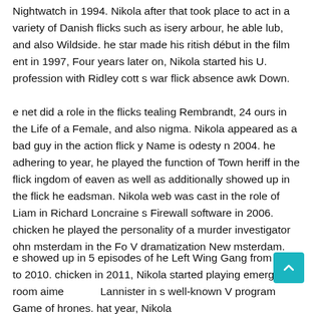Nightwatch in 1994. Nikola after that took place to act in a variety of Danish flicks such as isery arbour, he able lub, and also Wildside. he star made his ritish début in the film ent in 1997, Four years later on, Nikola started his U. profession with Ridley cott s war flick absence awk Down.
e net did a role in the flicks tealing Rembrandt, 24 ours in the Life of a Female, and also nigma. Nikola appeared as a bad guy in the action flick y Name is odesty n 2004. he adhering to year, he played the function of Town heriff in the flick ingdom of eaven as well as additionally showed up in the flick he eadsman. Nikola web was cast in the role of Liam in Richard Loncraine s Firewall software in 2006. chicken he played the personality of a murder investigator ohn msterdam in the Fo V dramatization New msterdam.
e showed up in 5 episodes of he Left Wing Gang from 2009 to 2010. chicken in 2011, Nikola started playing emergency room aime Lannister in s well-known V program Game of hrones. hat year, Nikola likewise did the first look at the progressively well-known scene 2013 ...